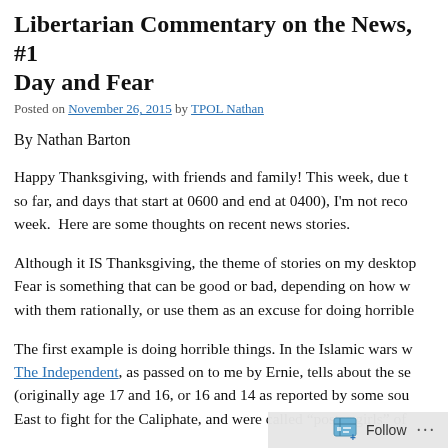Libertarian Commentary on the News, #1 Day and Fear
Posted on November 26, 2015 by TPOL Nathan
By Nathan Barton
Happy Thanksgiving, with friends and family! This week, due to so far, and days that start at 0600 and end at 0400), I'm not reco week.  Here are some thoughts on recent news stories.
Although it IS Thanksgiving, the theme of stories on my desktop Fear is something that can be good or bad, depending on how w with them rationally, or use them as an excuse for doing horrible
The first example is doing horrible things. In the Islamic wars w The Independent, as passed on to me by Ernie, tells about the se (originally age 17 and 16, or 16 and 14 as reported by some sou East to fight for the Caliphate, and were called "poster girls" of
Follow ...